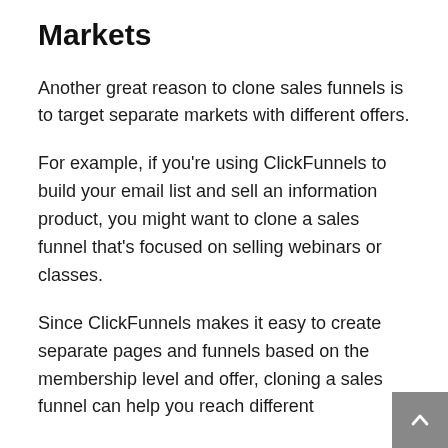Markets
Another great reason to clone sales funnels is to target separate markets with different offers.
For example, if you’re using ClickFunnels to build your email list and sell an information product, you might want to clone a sales funnel that’s focused on selling webinars or classes.
Since ClickFunnels makes it easy to create separate pages and funnels based on the membership level and offer, cloning a sales funnel can help you reach different